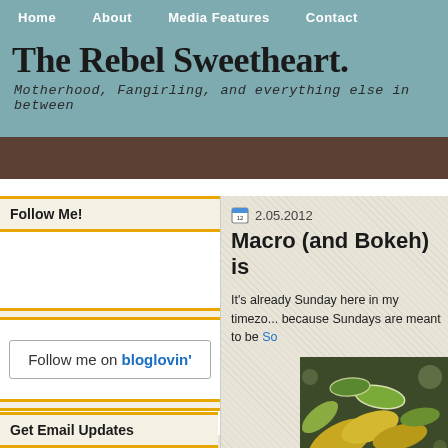Home | About | Media Features | Contact
The Rebel Sweetheart.
Motherhood, Fangirling, and everything else in between
Follow Me!
[Figure (screenshot): Follow me on bloglovin' button]
Get Email Updates
2.05.2012
Macro (and Bokeh) is...
It's already Sunday here in my timezone, because Sundays are meant to be So...
[Figure (photo): Macro/bokeh photo of yellow and green leaves]